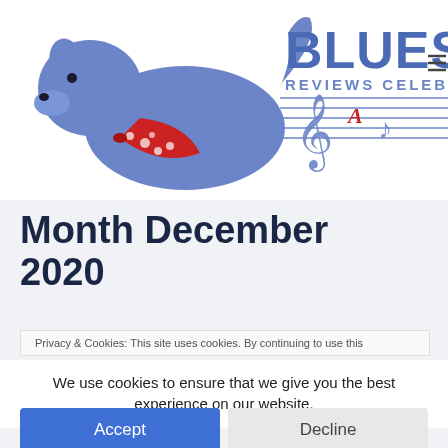[Figure (logo): Bluesdogg website logo featuring a blue cartoon dog with a red bandana, musical notes, a treble clef, and the text 'BLUESDOGG' with 'REVIEWS CELEBRATING TH...' below in blue letters]
Month December 2020
Privacy & Cookies: This site uses cookies. By continuing to use this
We use cookies to ensure that we give you the best experience on our website.
Accept
Decline